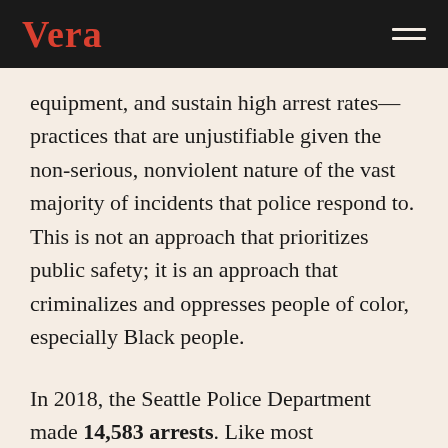Vera
equipment, and sustain high arrest rates—practices that are unjustifiable given the non-serious, nonviolent nature of the vast majority of incidents that police respond to. This is not an approach that prioritizes public safety; it is an approach that criminalizes and oppresses people of color, especially Black people.
In 2018, the Seattle Police Department made 14,583 arrests. Like most departments around the country, the majority of these arrests were not made for serious violent incidents, but